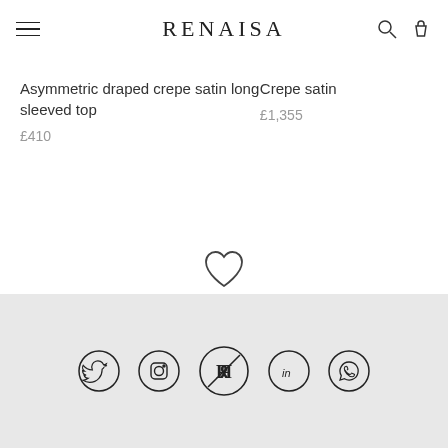RENAISA
Asymmetric draped crepe satin long sleeved top
£410
Crepe satin
£1,355
[Figure (illustration): Heart outline icon]
The latest trends
The best pieces straight from the runways
[Figure (infographic): Carousel pagination dots: 4 dots, first filled]
Social media icons: Twitter, Instagram, Renaisa logo, LinkedIn, WhatsApp